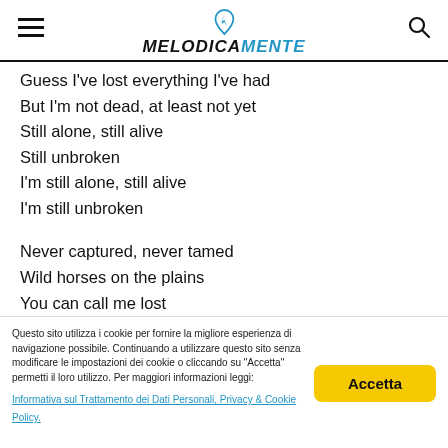MELODICAMENTE
Guess I've lost everything I've had
But I'm not dead, at least not yet
Still alone, still alive
Still unbroken
I'm still alone, still alive
I'm still unbroken
Never captured, never tamed
Wild horses on the plains
You can call me lost
I call it freedom
Questo sito utilizza i cookie per fornire la migliore esperienza di navigazione possibile. Continuando a utilizzare questo sito senza modificare le impostazioni dei cookie o cliccando su "Accetta" permetti il loro utilizzo. Per maggiori informazioni leggi:
Informativa sul Trattamento dei Dati Personali, Privacy & Cookie Policy.